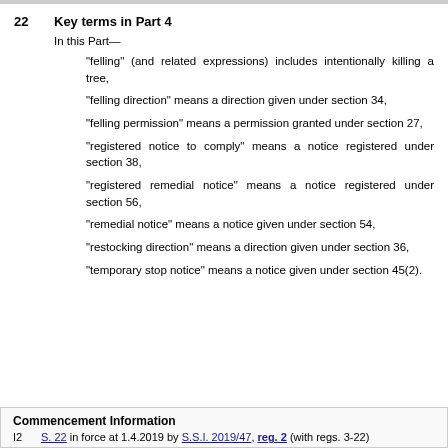22   Key terms in Part 4
In this Part—
"felling" (and related expressions) includes intentionally killing a tree,
"felling direction" means a direction given under section 34,
"felling permission" means a permission granted under section 27,
"registered notice to comply" means a notice registered under section 38,
"registered remedial notice" means a notice registered under section 56,
"remedial notice" means a notice given under section 54,
"restocking direction" means a direction given under section 36,
"temporary stop notice" means a notice given under section 45(2).
Commencement Information
I2   S. 22 in force at 1.4.2019 by S.S.I. 2019/47, reg. 2 (with regs. 3-22)